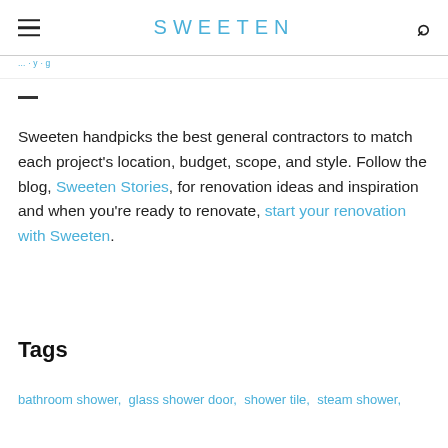SWEETEN
Sweeten handpicks the best general contractors to match each project's location, budget, scope, and style. Follow the blog, Sweeten Stories, for renovation ideas and inspiration and when you're ready to renovate, start your renovation with Sweeten.
Tags
bathroom shower,  glass shower door,  shower tile,  steam shower,